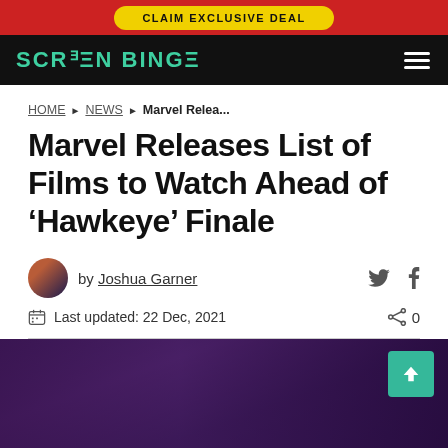CLAIM EXCLUSIVE DEAL
SCREEN BINGE
HOME › NEWS › Marvel Relea...
Marvel Releases List of Films to Watch Ahead of 'Hawkeye' Finale
by Joshua Garner
Last updated: 22 Dec, 2021
[Figure (photo): Article hero image showing Marvel characters in purple-toned promotional artwork]